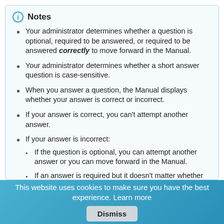Notes
Your administrator determines whether a question is optional, required to be answered, or required to be answered correctly to move forward in the Manual.
Your administrator determines whether a short answer question is case-sensitive.
When you answer a question, the Manual displays whether your answer is correct or incorrect.
If your answer is correct, you can't attempt another answer.
If your answer is incorrect:
If the question is optional, you can attempt another answer or you can move forward in the Manual.
If an answer is required but it doesn't matter whether the answer is correct, you can't
This website uses cookies to make sure you have the best experience. Learn more
Dismiss